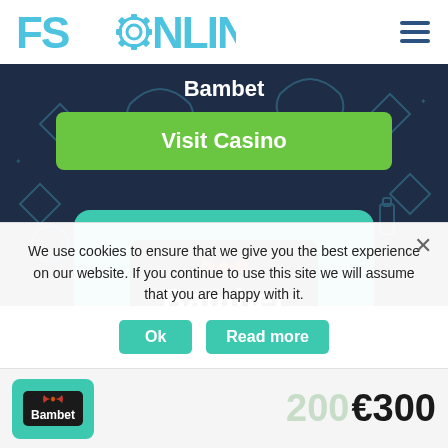[Figure (logo): FSOnline logo with gear icon in blue/cyan text]
Bambet
[Figure (illustration): Green Visit Casino button on dark casino-themed banner background]
[Figure (logo): Bambet logo on teal card with dark rounded rectangle background and orange bow accent]
Bonuses for Bambet
We use cookies to ensure that we give you the best experience on our website. If you continue to use this site we will assume that you are happy with it.
[Figure (illustration): Partial bonus card showing Bambet mini logo and €300 amount with faded 200 behind it]